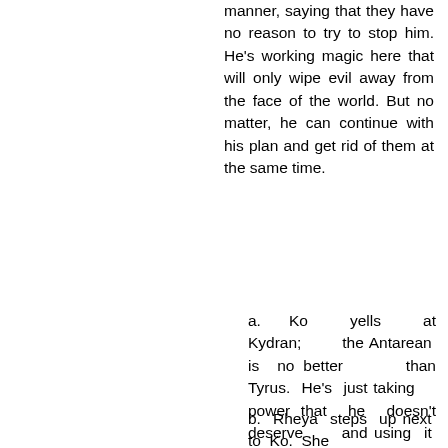manner, saying that they have no reason to try to stop him. He's working magic here that will only wipe evil away from the face of the world. But no matter, he can continue with his plan and get rid of them at the same time.
a. Ko yells at Kydran; the Antarean is no better than Tyrus. He's just taking power that he doesn't deserve and using it for his own ends.
b. Rheya steps up next to Ko. She